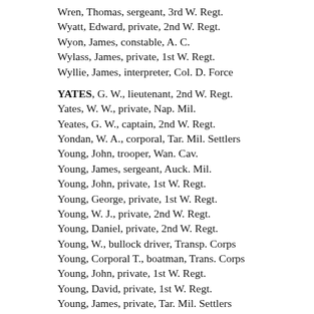Wren, Thomas, sergeant, 3rd W. Regt.
Wyatt, Edward, private, 2nd W. Regt.
Wyon, James, constable, A. C.
Wylass, James, private, 1st W. Regt.
Wyllie, James, interpreter, Col. D. Force
YATES, G. W., lieutenant, 2nd W. Regt.
Yates, W. W., private, Nap. Mil.
Yeates, G. W., captain, 2nd W. Regt.
Yondan, W. A., corporal, Tar. Mil. Settlers
Young, John, trooper, Wan. Cav.
Young, James, sergeant, Auck. Mil.
Young, John, private, 1st W. Regt.
Young, George, private, 1st W. Regt.
Young, W. J., private, 2nd W. Regt.
Young, Daniel, private, 2nd W. Regt.
Young, W., bullock driver, Transp. Corps
Young, Corporal T., boatman, Trans. Corps
Young, John, private, 1st W. Regt.
Young, David, private, 1st W. Regt.
Young, James, private, Tar. Mil. Settlers